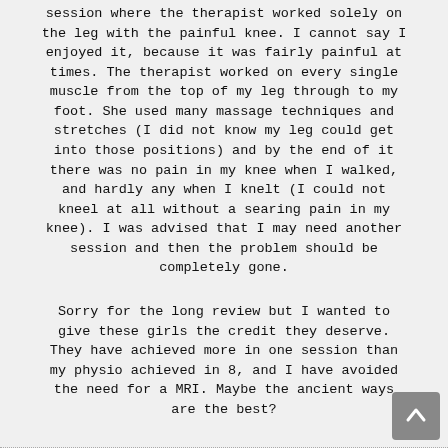session where the therapist worked solely on the leg with the painful knee. I cannot say I enjoyed it, because it was fairly painful at times. The therapist worked on every single muscle from the top of my leg through to my foot. She used many massage techniques and stretches (I did not know my leg could get into those positions) and by the end of it there was no pain in my knee when I walked, and hardly any when I knelt (I could not kneel at all without a searing pain in my knee). I was advised that I may need another session and then the problem should be completely gone.
Sorry for the long review but I wanted to give these girls the credit they deserve. They have achieved more in one session than my physio achieved in 8, and I have avoided the need for a MRI. Maybe the ancient ways are the best?